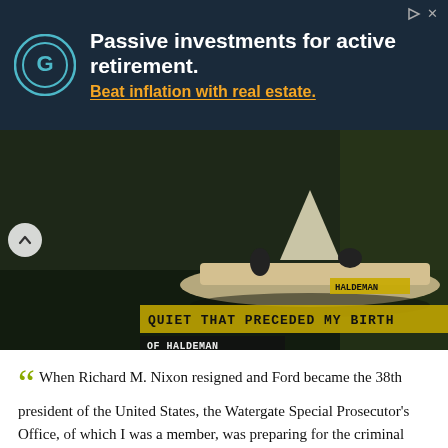[Figure (other): Advertisement banner with dark navy background showing logo and text: 'Passive investments for active retirement. Beat inflation with real estate.']
[Figure (screenshot): Video thumbnail showing a boat on a dark river with text overlay 'QUIET THAT PRECEDED MY BIRTH' and 'OF HALDEMAN']
" When Richard M. Nixon resigned and Ford became the 38th president of the United States, the Watergate Special Prosecutor's Office, of which I was a member, was preparing for the criminal trials of Nixon's top aides - H.R. Haldeman, John Ehrlichman and John Mitchell. " — Richard Ben-Veniste